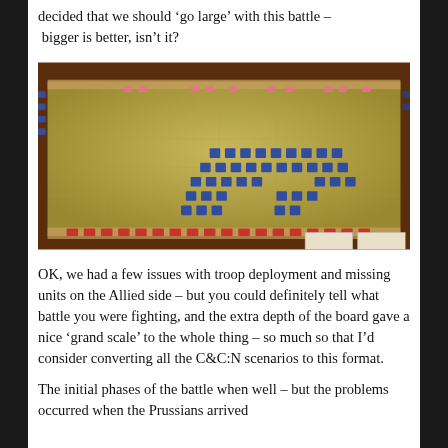decided that we should ‘go large’ with this battle – bigger is better, isn’t it?
[Figure (photo): Overhead photograph of a large hexagonal wargame board set up on a table, showing yellow-green hex tiles with numerous small blue building/unit pieces arranged across the board, with red pieces along the bottom edge and some pieces off-board to the sides.]
OK, we had a few issues with troop deployment and missing units on the Allied side – but you could definitely tell what battle you were fighting, and the extra depth of the board gave a nice ‘grand scale’ to the whole thing – so much so that I’d consider converting all the C&C:N scenarios to this format.
The initial phases of the battle when well – but the problems occurred when the Prussians arrived